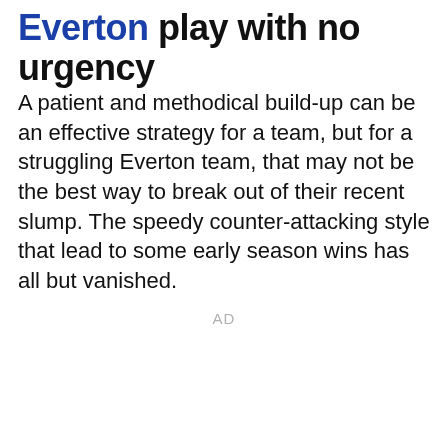Everton play with no urgency
A patient and methodical build-up can be an effective strategy for a team, but for a struggling Everton team, that may not be the best way to break out of their recent slump. The speedy counter-attacking style that lead to some early season wins has all but vanished.
AD